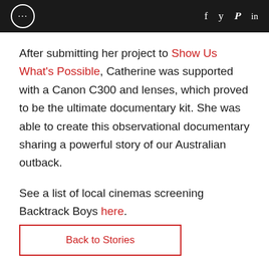... f y p in
After submitting her project to Show Us What's Possible, Catherine was supported with a Canon C300 and lenses, which proved to be the ultimate documentary kit. She was able to create this observational documentary sharing a powerful story of our Australian outback.
See a list of local cinemas screening Backtrack Boys here.
Back to Stories